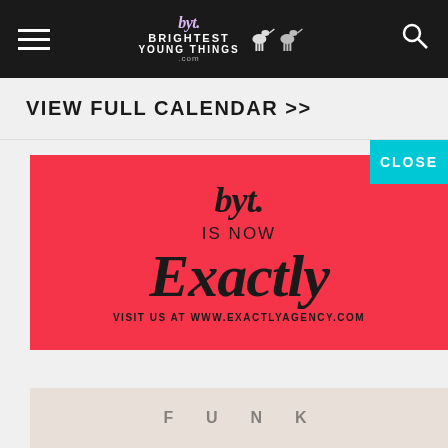BYT: Brightest Young Things
VIEW FULL CALENDAR >>
[Figure (screenshot): Red advertisement panel showing BYT script logo, 'IS NOW', 'Exactly' in large serif bold font, and 'VISIT US AT WWW.EXACTLYAGENCY.COM']
CLOSE
[Figure (photo): Bottom partial photo strip showing partial text or imagery]